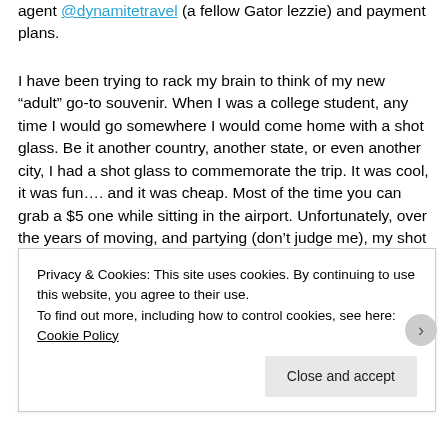agent @dynamitetravel (a fellow Gator lezzie) and payment plans.
I have been trying to rack my brain to think of my new “adult” go-to souvenir. When I was a college student, any time I would go somewhere I would come home with a shot glass. Be it another country, another state, or even another city, I had a shot glass to commemorate the trip. It was cool, it was fun…. and it was cheap. Most of the time you can grab a $5 one while sitting in the airport. Unfortunately, over the years of moving, and partying (don’t judge me), my shot glass collection did not stand the test of time.
Privacy & Cookies: This site uses cookies. By continuing to use this website, you agree to their use.
To find out more, including how to control cookies, see here: Cookie Policy